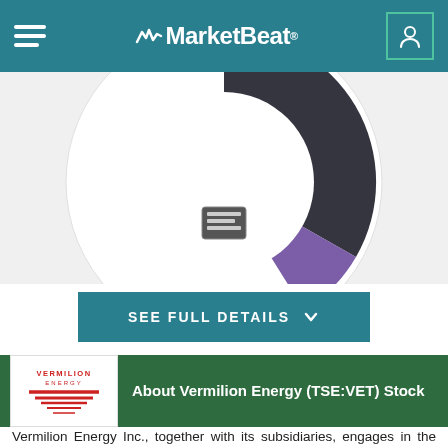MarketBeat
[Figure (donut-chart): Partial donut/pie chart visible, showing dark charcoal and purple segments with a small icon in the center, white circular background]
SEE FULL DETAILS
About Vermilion Energy (TSE:VET) Stock
[Figure (logo): Vermilion Energy logo with red wave lines and company name]
Vermilion Energy Inc., together with its subsidiaries, engages in the acquisition, exploration, development, and production of petroleum and natural gas in North America, Europe, and Australia. The company owns 81% working interest in 636,714 net